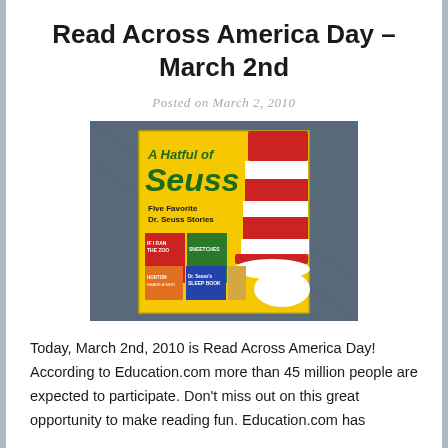Read Across America Day – March 2nd
Posted on March 2, 2010
[Figure (photo): A photograph of 'A Hatful of Seuss: Five Favorite Dr. Seuss Stories' book cover on a dark denim background. The book has a yellow cover with green text and features the Cat in the Hat's hat.]
Today, March 2nd, 2010 is Read Across America Day! According to Education.com more than 45 million people are expected to participate.  Don't miss out on this great opportunity to make reading fun.  Education.com has